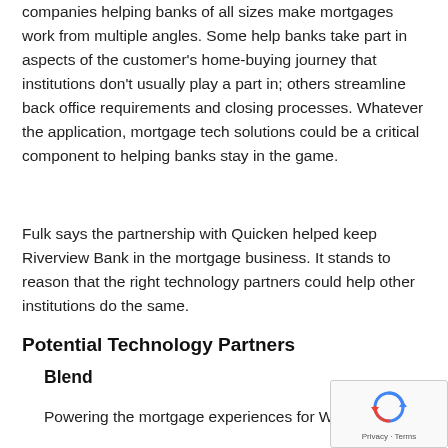companies helping banks of all sizes make mortgages work from multiple angles. Some help banks take part in aspects of the customer's home-buying journey that institutions don't usually play a part in; others streamline back office requirements and closing processes. Whatever the application, mortgage tech solutions could be a critical component to helping banks stay in the game.
Fulk says the partnership with Quicken helped keep Riverview Bank in the mortgage business. It stands to reason that the right technology partners could help other institutions do the same.
Potential Technology Partners
Blend
Powering the mortgage experiences for Wells F...